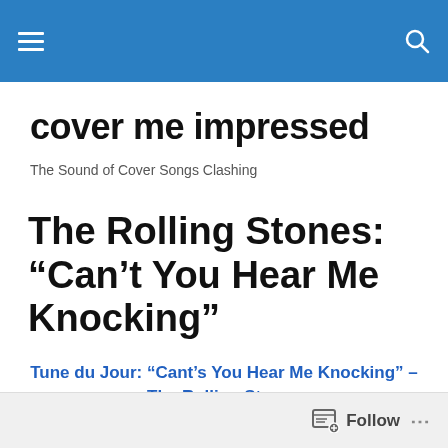cover me impressed — navigation header bar
cover me impressed
The Sound of Cover Songs Clashing
The Rolling Stones: “Can’t You Hear Me Knocking”
Tune du Jour: “Cant’s You Hear Me Knocking” – The Rolling Stones
THE CLASH of Cover Tunes: Bernard Fowler & Chuck D vs. Great Caesar’s Ghost vs. Bobby Keys
Follow